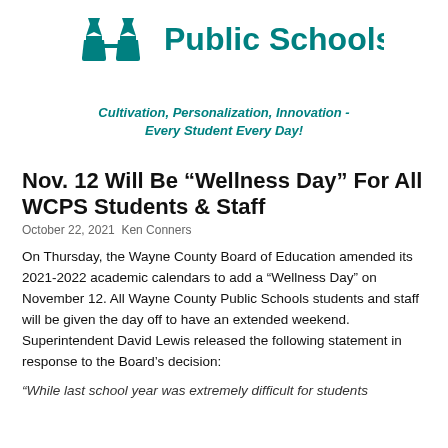[Figure (logo): Wayne County Public Schools logo with teal chess piece / W icon and bold teal text 'Public Schools']
Cultivation, Personalization, Innovation - Every Student Every Day!
Nov. 12 Will Be “Wellness Day” For All WCPS Students & Staff
October 22, 2021 Ken Conners
On Thursday, the Wayne County Board of Education amended its 2021-2022 academic calendars to add a “Wellness Day” on November 12. All Wayne County Public Schools students and staff will be given the day off to have an extended weekend. Superintendent David Lewis released the following statement in response to the Board’s decision:
“While last school year was extremely difficult for students